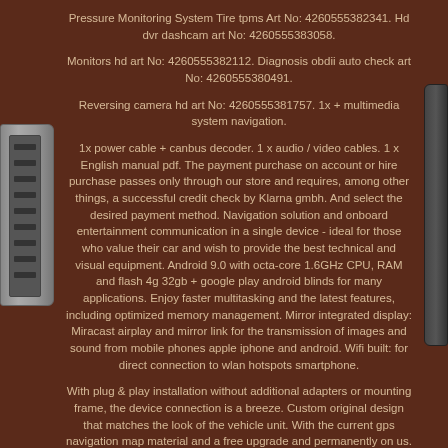Pressure Monitoring System Tire tpms Art No: 4260555382341. Hd dvr dashcam art No: 4260555383058.
Monitors hd art No: 4260555382112. Diagnosis obdii auto check art No: 4260555380491.
Reversing camera hd art No: 4260555381757. 1x + multimedia system navigation.
1x power cable + canbus decoder. 1 x audio / video cables. 1 x English manual pdf. The payment purchase on account or hire purchase passes only through our store and requires, among other things, a successful credit check by Klarna gmbh. And select the desired payment method. Navigation solution and onboard entertainment communication in a single device - ideal for those who value their car and wish to provide the best technical and visual equipment. Android 9.0 with octa-core 1.6GHz CPU, RAM and flash 4g 32gb + google play android blinds for many applications. Enjoy faster multitasking and the latest features, including optimized memory management. Mirror integrated display: Miracast airplay and mirror link for the transmission of images and sound from mobile phones apple iphone and android. Wifi built: for direct connection to wlan hotspots smartphone.
With plug & play installation without additional adapters or mounting frame, the device connection is a breeze. Custom original design that matches the look of the vehicle unit. With the current gps navigation map material and a free upgrade and permanently on us. Invoice with vat + 2 year warranty. Installation: just replace the original radio.
Intuitive user interface in different languages. 3d interface, user-friendly